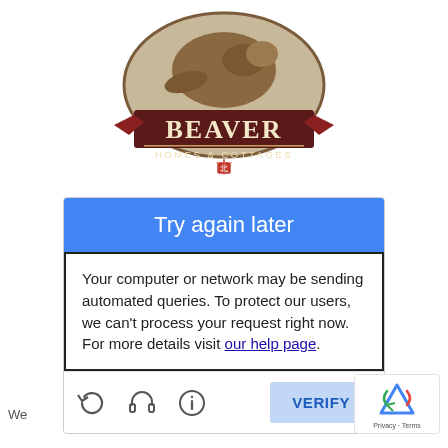[Figure (logo): Beaver Homes & Cottages logo — oval shape with a beaver illustration on top, dark red banner reading BEAVER in large serif letters, HOMES & COTTAGES in smaller caps below, red maple leaf motif and a small red square icon at the bottom]
Try again later
Your computer or network may be sending automated queries. To protect our users, we can't process your request right now. For more details visit our help page.
[Figure (screenshot): CAPTCHA widget footer with reload, audio, info icons and a VERIFY button, plus reCAPTCHA Privacy-Terms badge in bottom right]